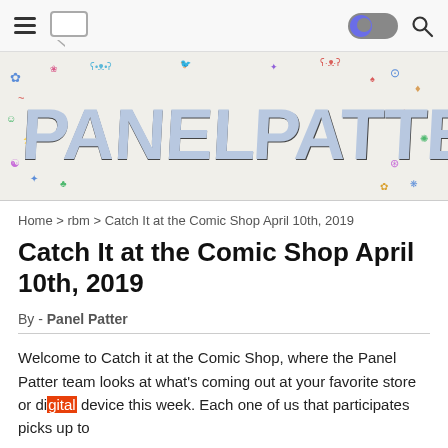Navigation bar with hamburger menu, chat icon, dark mode toggle, and search icon
[Figure (illustration): Panel Patter banner with colorful cartoon doodles of various characters surrounding large stylized text reading 'PANEL PATTER' in a comic book style font with 3D block letter effect in blue/grey tones]
Home > rbm > Catch It at the Comic Shop April 10th, 2019
Catch It at the Comic Shop April 10th, 2019
By - Panel Patter
Welcome to Catch it at the Comic Shop, where the Panel Patter team looks at what's coming out at your favorite store or digital device this week. Each one of us that participates picks up to